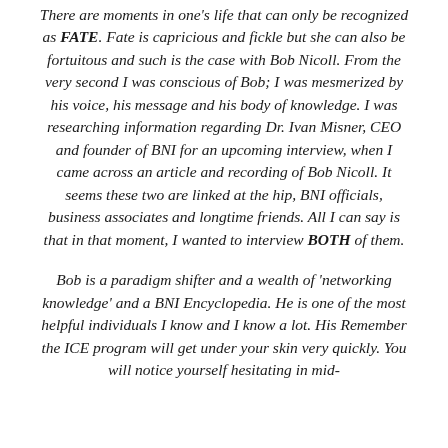There are moments in one's life that can only be recognized as FATE. Fate is capricious and fickle but she can also be fortuitous and such is the case with Bob Nicoll. From the very second I was conscious of Bob; I was mesmerized by his voice, his message and his body of knowledge. I was researching information regarding Dr. Ivan Misner, CEO and founder of BNI for an upcoming interview, when I came across an article and recording of Bob Nicoll. It seems these two are linked at the hip, BNI officials, business associates and longtime friends. All I can say is that in that moment, I wanted to interview BOTH of them.
Bob is a paradigm shifter and a wealth of 'networking knowledge' and a BNI Encyclopedia. He is one of the most helpful individuals I know and I know a lot. His Remember the ICE program will get under your skin very quickly. You will notice yourself hesitating in mid-